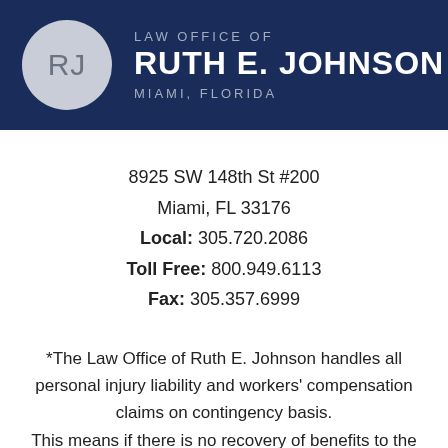[Figure (logo): Law Office of Ruth E. Johnson logo with RJ monogram in a circle on dark navy background, Miami, Florida]
8925 SW 148th St #200
Miami, FL 33176
Local: 305.720.2086
Toll Free: 800.949.6113
Fax: 305.357.6999
*The Law Office of Ruth E. Johnson handles all personal injury liability and workers' compensation claims on contingency basis. This means if there is no recovery of benefits to the client there is no fee.